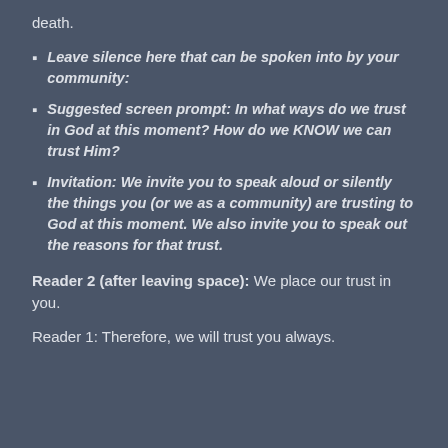death.
Leave silence here that can be spoken into by your community:
Suggested screen prompt: In what ways do we trust in God at this moment? How do we KNOW we can trust Him?
Invitation: We invite you to speak aloud or silently the things you (or we as a community) are trusting to God at this moment. We also invite you to speak out the reasons for that trust.
Reader 2 (after leaving space): We place our trust in you.
Reader 1: Therefore, we will trust you always.